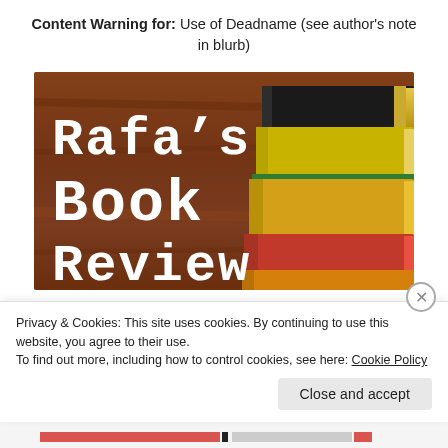Content Warning for: Use of Deadname (see author's note in blurb)
[Figure (illustration): Rafa's Book Review logo: white serif/slab text 'Rafa's Book Review' on a dark brown wooden background, with a stack of colorful books on the right side.]
Driven by Duty was a long time coming in all the best
Privacy & Cookies: This site uses cookies. By continuing to use this website, you agree to their use.
To find out more, including how to control cookies, see here: Cookie Policy
Close and accept